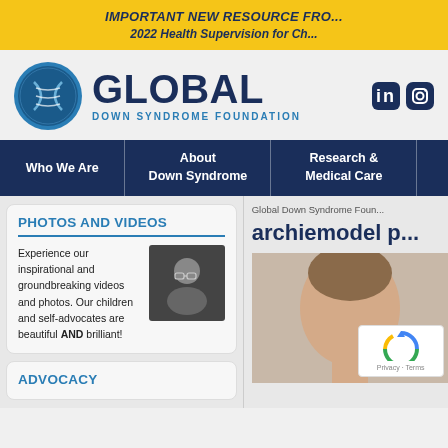IMPORTANT NEW RESOURCE FRO... 2022 Health Supervision for Ch...
[Figure (logo): Global Down Syndrome Foundation logo with circular DNA icon and text GLOBAL DOWN SYNDROME FOUNDATION]
[Figure (infographic): LinkedIn and Instagram social media icons]
Who We Are | About Down Syndrome | Research & Medical Care
PHOTOS AND VIDEOS
Experience our inspirational and groundbreaking videos and photos. Our children and self-advocates are beautiful AND brilliant!
[Figure (photo): Photo of a smiling person wearing glasses]
ADVOCACY
Global Down Syndrome Foun...
archiemodel p...
[Figure (photo): Photo of a young man with reCAPTCHA overlay showing Privacy and Terms]